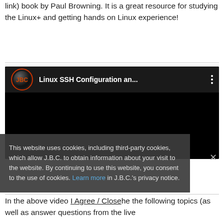link) book by Paul Browning. It is a great resource for studying the Linux+ and getting hands on Linux experience!
[Figure (screenshot): YouTube-style video thumbnail showing 'Linux SSH Configuration an...' with JBC logo on dark background]
This website uses cookies, including third-party cookies, which allow J.B.C. to obtain information about your visit to the website. By continuing to use this website, you consent to the use of cookies. Learn more in J.B.C.'s privacy notice.
In the above video I Agree / Close he the following topics (as well as answer questions from the live